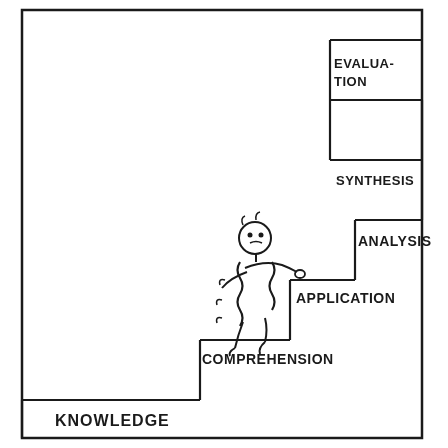[Figure (infographic): Bloom's Taxonomy staircase diagram showing a cartoon figure climbing stairs labeled from bottom to top: KNOWLEDGE, COMPREHENSION, APPLICATION, ANALYSIS, SYNTHESIS, EVALUATION. The figure appears to be struggling/straining at the APPLICATION step.]